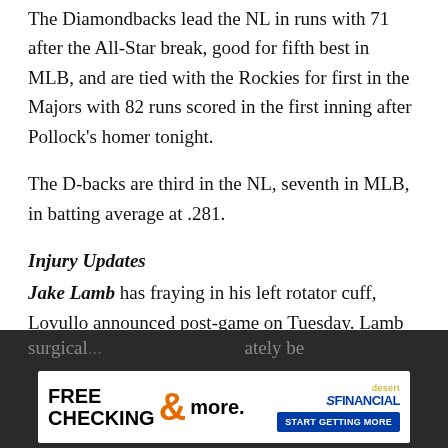The Diamondbacks lead the NL in runs with 71 after the All-Star break, good for fifth best in MLB, and are tied with the Rockies for first in the Majors with 82 runs scored in the first inning after Pollock's homer tonight.
The D-backs are third in the NL, seventh in MLB, in batting average at .281.
Injury Updates
Jake Lamb has fraying in his left rotator cuff, Lovullo announced post-game on Tuesday. Lamb re-aggravated the shoulder injury on July 27 and after getting second opinions on the MRIs in LA, the fraying was discovered.
Lovullo said that there is a conservative approach and a surgical... ...ately be up to L...
[Figure (advertisement): Desert Financial 'FREE CHECKING & more. START GETTING MORE' advertisement banner]